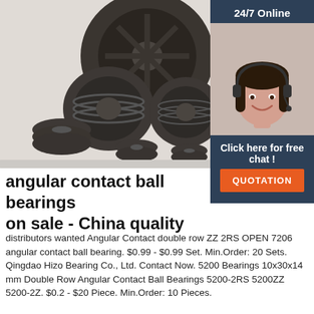[Figure (photo): Multiple industrial V-belt pulleys of various sizes arranged together on a white background]
[Figure (photo): 24/7 Online customer service agent — woman with headset smiling, overlaid on dark blue sidebar with 'Click here for free chat!' and orange QUOTATION button]
angular contact ball bearings on sale - China quality
distributors wanted Angular Contact double row ZZ 2RS OPEN 7206 angular contact ball bearing. $0.99 - $0.99 Set. Min.Order: 20 Sets. Qingdao Hizo Bearing Co., Ltd. Contact Now. 5200 Bearings 10x30x14 mm Double Row Angular Contact Ball Bearings 5200-2RS 5200ZZ 5200-2Z. $0.2 - $20 Piece. Min.Order: 10 Pieces.